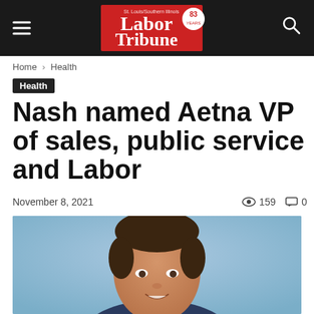Labor Tribune
Home › Health
Health
Nash named Aetna VP of sales, public service and Labor
November 8, 2021   159   0
[Figure (photo): Headshot of a man with short dark hair, smiling, against a light blue background]